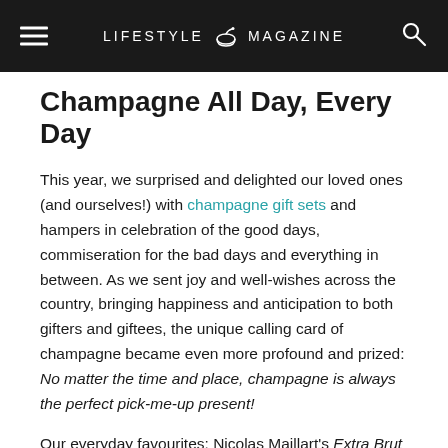LIFESTYLE MAGAZINE
Champagne All Day, Every Day
This year, we surprised and delighted our loved ones (and ourselves!) with champagne gift sets and hampers in celebration of the good days, commiseration for the bad days and everything in between. As we sent joy and well-wishes across the country, bringing happiness and anticipation to both gifters and giftees, the unique calling card of champagne became even more profound and prized: No matter the time and place, champagne is always the perfect pick-me-up present!
Our everyday favourites: Nicolas Maillart's Extra Brut NV and Larmandier-Bernier's Latitude NV.